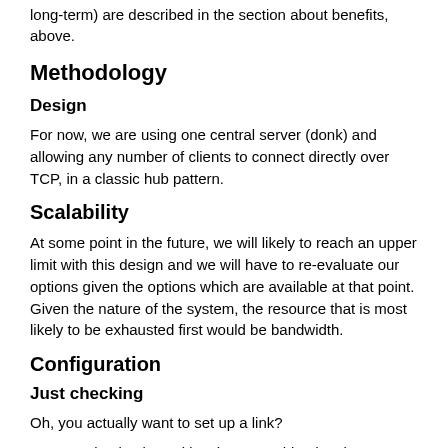long-term) are described in the section about benefits, above.
Methodology
Design
For now, we are using one central server (donk) and allowing any number of clients to connect directly over TCP, in a classic hub pattern.
Scalability
At some point in the future, we will likely to reach an upper limit with this design and we will have to re-evaluate our options given the options which are available at that point. Given the nature of the system, the resource that is most likely to be exhausted first would be bandwidth.
Configuration
Just checking
Oh, you actually want to set up a link?
Are you absolutely positive that everything has been upgraded and the new kernel is running?